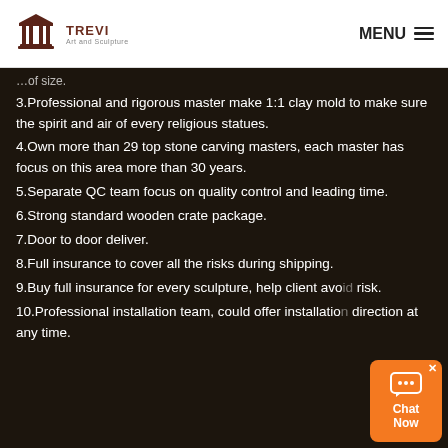TREVI Art and Sculpture — MENU
of size.
3.Professional and rigorous master make 1:1 clay mold to make sure the spirit and air of every religious statues.
4.Own more than 29 top stone carving masters, each master has focus on this area more than 30 years.
5.Separate QC team focus on quality control and leading time.
6.Strong standard wooden crate package.
7.Door to door deliver.
8.Full insurance to cover all the risks during shipping.
9.Buy full insurance for every sculpture, help client avo… risk.
10.Professional installation team, could offer installation direction at any time.